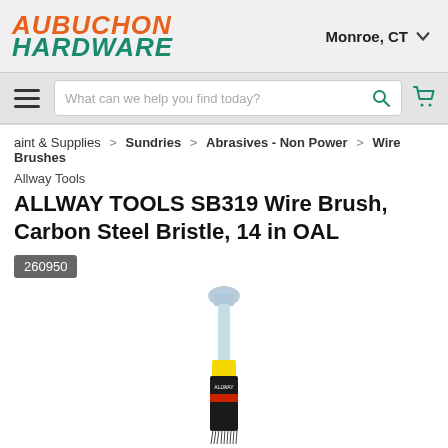AUBUCHON HARDWARE — Monroe, CT
[Figure (screenshot): Aubuchon Hardware website header with logo, location selector showing Monroe CT, hamburger menu, search bar placeholder 'What can we help you find today?', and shopping cart icon]
aint & Supplies > Sundries > Abrasives - Non Power > Wire Brushes
Allway Tools
ALLWAY TOOLS SB319 Wire Brush, Carbon Steel Bristle, 14 in OAL
260950
[Figure (photo): Product photo of Allway Tools SB319 wire brush with carbon steel bristles, showing the brush handle and bristle head, yellow and black packaging label visible]